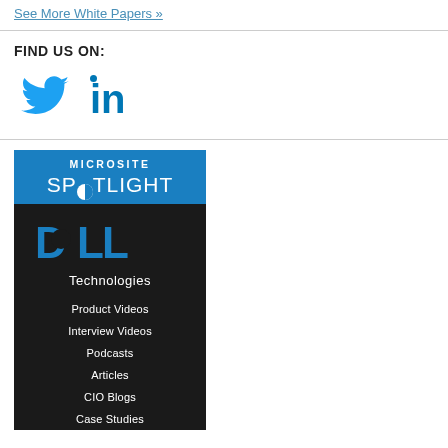See More White Papers »
FIND US ON:
[Figure (logo): Twitter bird logo icon in blue]
[Figure (logo): LinkedIn 'in' logo icon in blue]
[Figure (illustration): Microsite Spotlight banner for Dell Technologies with links: Product Videos, Interview Videos, Podcasts, Articles, CIO Blogs, Case Studies]